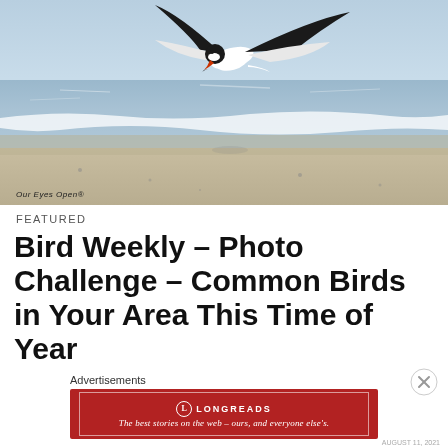[Figure (photo): A black skimmer bird in flight over a beach shoreline, wings spread with black and white plumage and orange-red beak, with ocean waves in the background. Watermark reads 'Our Eyes Open®']
FEATURED
Bird Weekly – Photo Challenge – Common Birds in Your Area This Time of Year
Advertisements
[Figure (other): Longreads advertisement banner in red: 'L LONGREADS — The best stories on the web – ours, and everyone else's.']